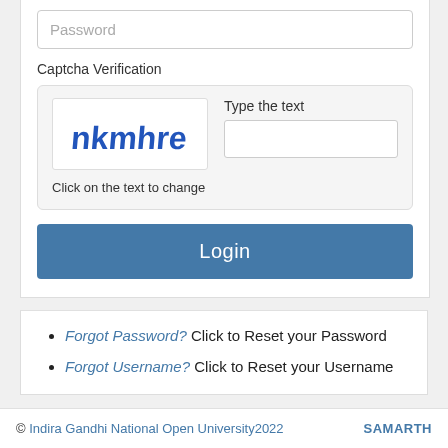[Figure (screenshot): Password input field with placeholder text 'Password']
Captcha Verification
[Figure (screenshot): CAPTCHA widget showing stylized text 'nkmhre' in blue on white background, with 'Type the text' label and an empty input field. Below: 'Click on the text to change']
Login
Forgot Password? Click to Reset your Password
Forgot Username? Click to Reset your Username
© Indira Gandhi National Open University2022   SAMARTH